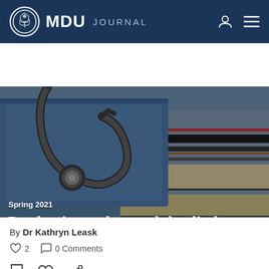MDU JOURNAL
[Figure (photo): Photo of stethoscope resting on a stack of medical file folders/binders, blue and multi-colored folders visible, close-up]
Spring 2021
Production orders and the disclosure of medical records
By Dr Kathryn Leask
2   0 Comments